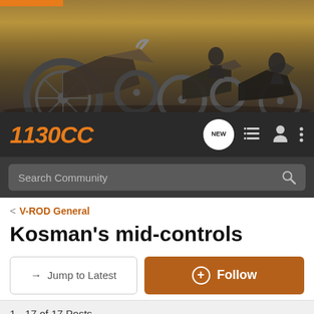[Figure (photo): Banner header showing motorcycles riding, with orange bar accent at top left]
1130CC
Search Community
< V-ROD General
Kosman's mid-controls
→ Jump to Latest
+ Follow
1 - 17 of 17 Posts
tomizo · Silver_rod User
Joined Dec 23, 2010 · 7 Posts